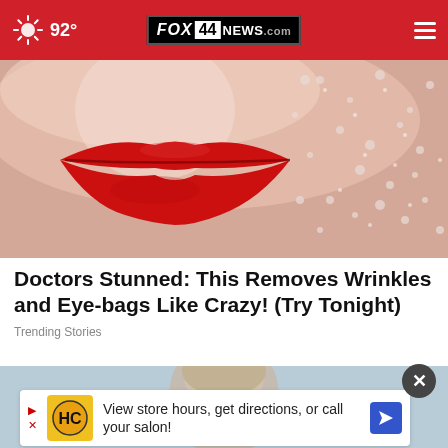92° FOX 44 NEWS.com
[Figure (photo): Close-up photo of red lipstick on lips with glittery/dewy skin texture]
Doctors Stunned: This Removes Wrinkles and Eye-bags Like Crazy! (Try Tonight)
Trending Stories
[Figure (photo): Partial photo of a person's head, light blue background]
[Figure (screenshot): Advertisement banner: HC logo in yellow square, text 'View store hours, get directions, or call your salon!', blue navigation arrow]